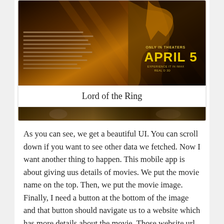[Figure (photo): Movie poster image for Lord of the Ring showing a dark amber/gold toned action scene. Text on left side with credits. Right side shows 'ONLY IN THEATERS APRIL 5' in yellow text. A strip at bottom shows another scene.]
Lord of the Ring
As you can see, we get a beautiful UI. You can scroll down if you want to see other data we fetched. Now I want another thing to happen. This mobile app is about giving uus details of movies. We put the movie name on the top. Then, we put the movie image. Finally, I need a button at the bottom of the image and that button should navigate us to a website which has more details about the movie. Those website url is given in API.